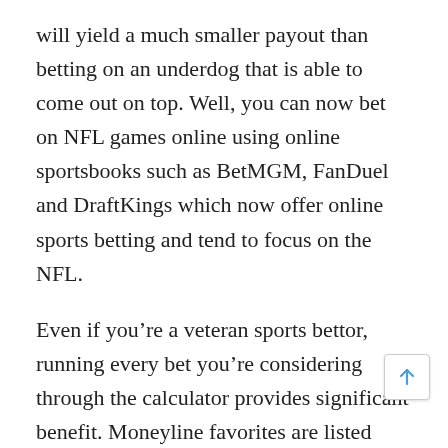will yield a much smaller payout than betting on an underdog that is able to come out on top. Well, you can now bet on NFL games online using online sportsbooks such as BetMGM, FanDuel and DraftKings which now offer online sports betting and tend to focus on the NFL.
Even if you’re a veteran sports bettor, running every bet you’re considering through the calculator provides significant benefit. Moneyline favorites are listed with “-” odds, and the underdog is listed at “+” odds. Here’s a link that includes a complete list of team win totals for the current season, along with my recommendation on whether you should take the over or the under. If you are thinking about betting parlays, be sure to check o complete guide to betting baseball parlays. The run line is the closest thing you will find to a spread in baseball